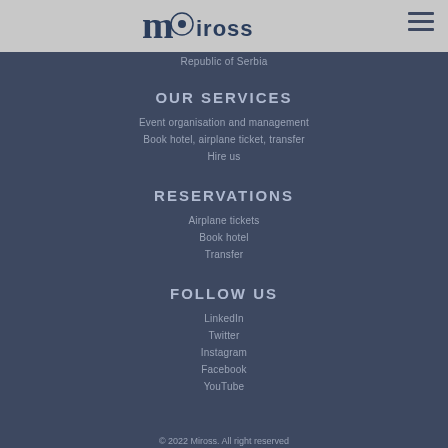VISIT US
[Figure (logo): Miross company logo with stylized m and circular emblem]
Republic of Serbia
OUR SERVICES
Event organisation and management
Book hotel, airplane ticket, transfer
Hire us
RESERVATIONS
Airplane tickets
Book hotel
Transfer
FOLLOW US
LinkedIn
Twitter
Instagram
Facebook
YouTube
© 2022 Miross. All right reserved